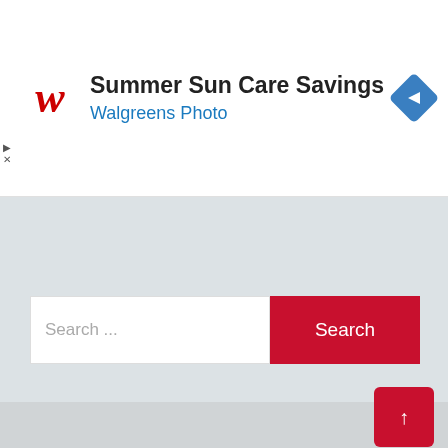[Figure (screenshot): Walgreens Photo advertisement banner with logo, 'Summer Sun Care Savings' heading, 'Walgreens Photo' subtitle in blue, and a blue navigation diamond icon on the right. Small play and close icons on the left edge.]
Save my name, email, and website in this browser for the next time I comment.
Post Comment
Search ...
Search
↑